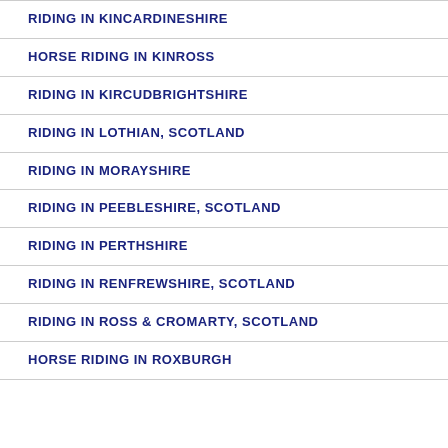RIDING IN KINCARDINESHIRE
HORSE RIDING IN KINROSS
RIDING IN KIRCUDBRIGHTSHIRE
RIDING IN LOTHIAN, SCOTLAND
RIDING IN MORAYSHIRE
RIDING IN PEEBLESHIRE, SCOTLAND
RIDING IN PERTHSHIRE
RIDING IN RENFREWSHIRE, SCOTLAND
RIDING IN ROSS & CROMARTY, SCOTLAND
HORSE RIDING IN ROXBURGH